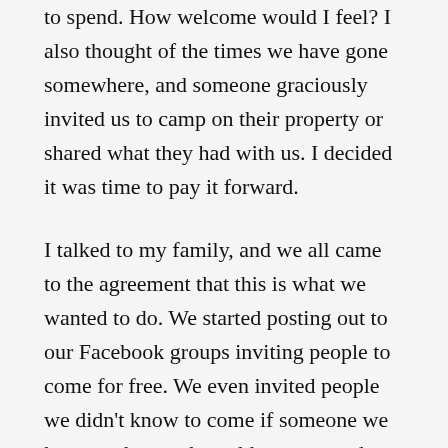to spend. How welcome would I feel? I also thought of the times we have gone somewhere, and someone graciously invited us to camp on their property or shared what they had with us. I decided it was time to pay it forward.
I talked to my family, and we all came to the agreement that this is what we wanted to do. We started posting out to our Facebook groups inviting people to come for free. We even invited people we didn't know to come if someone we knew and trusted would recommend them. We also started trying to think of other ways we could make their stay nice without spending too much of our own money. I decided that for not too much I could make Dutch oven potatoes and scones with honey butter the night before the eclipse, along with pancakes and eggs for breakfast the next morning.